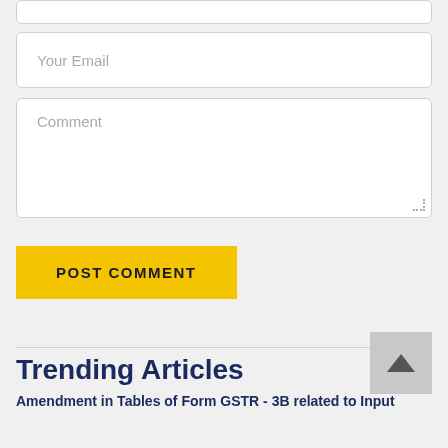[Figure (screenshot): Top partial input field (partially visible at top of page)]
Your Email
Comment
POST COMMENT
Trending Articles
Amendment in Tables of Form GSTR - 3B related to Input